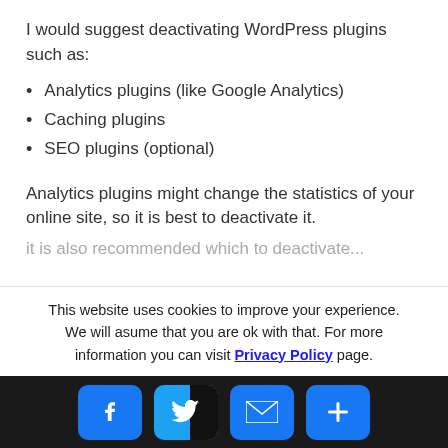I would suggest deactivating WordPress plugins such as:
Analytics plugins (like Google Analytics)
Caching plugins
SEO plugins (optional)
Analytics plugins might change the statistics of your online site, so it is best to deactivate it.
it is also...
This website uses cookies to improve your experience. We will asume that you are ok with that. For more information you can visit Privacy Policy page.
[Figure (infographic): Social share buttons: Facebook (blue), Twitter (blue with black overlay), Email (blue), Plus/Share (blue)]